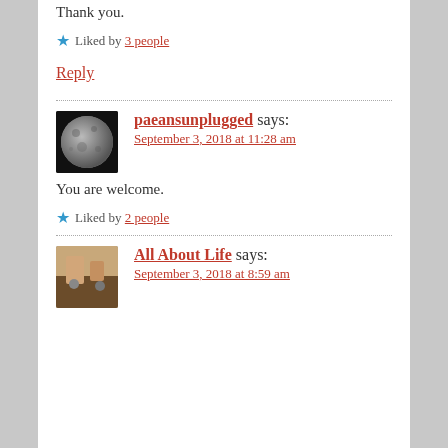Thank you.
★ Liked by 3 people
Reply
paeansunplugged says:
September 3, 2018 at 11:28 am
You are welcome.
★ Liked by 2 people
All About Life says:
September 3, 2018 at 8:59 am